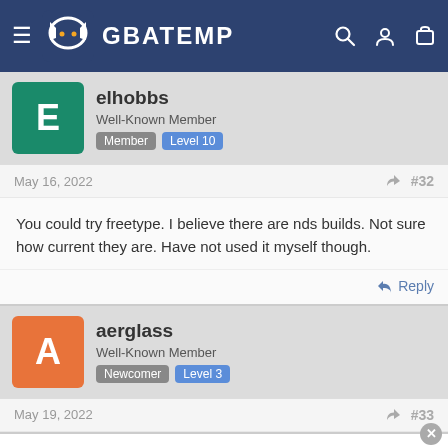GBATEMP
elhobbs
Well-Known Member
Member  Level 10
May 16, 2022  #32
You could try freetype. I believe there are nds builds. Not sure how current they are. Have not used it myself though.
Reply
aerglass
Well-Known Member
Newcomer  Level 3
May 19, 2022  #33